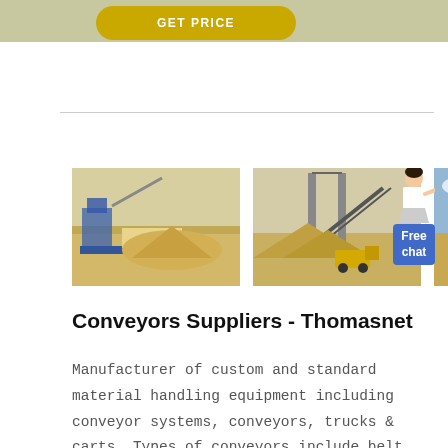[Figure (screenshot): Yellow GET PRICE button on grey/tan header bar]
[Figure (photo): Three photos of industrial mining/conveyor equipment at outdoor worksites]
[Figure (illustration): Free chat widget with illustration of a woman and blue badge saying Free chat]
Conveyors Suppliers - Thomasnet
Manufacturer of custom and standard material handling equipment including conveyor systems, conveyors, trucks & carts. Types of conveyors include belt, gravity, live roller & overhead conveyors. Types of belt conveyors include accumulating, wire mesh, chain, slider bed,